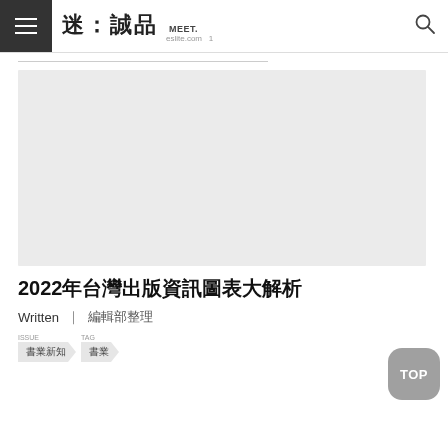迷：誠品 MEET. eslite.com
[Figure (photo): Large light gray placeholder image area for article hero image]
2022年台灣出版資訊圖表大解析
Written | 編輯部整理
ISSUE: 書業新知
TAG: 書業